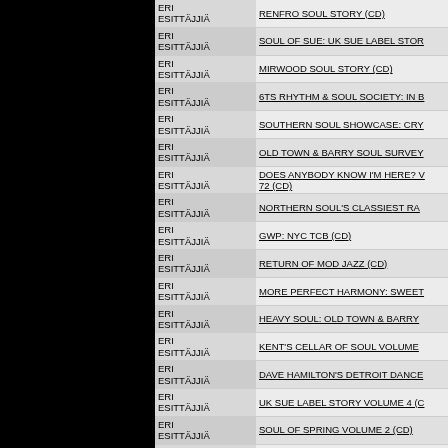| Artist | Title |
| --- | --- |
| ERI ESITTÄJJIÄ | RENFRO SOUL STORY (CD) |
| ERI ESITTÄJJIÄ | SOUL OF SUE: UK SUE LABEL STOR |
| ERI ESITTÄJJIÄ | MIRWOOD SOUL STORY (CD) |
| ERI ESITTÄJJIÄ | 6TS RHYTHM & SOUL SOCIETY: IN B |
| ERI ESITTÄJJIÄ | SOUTHERN SOUL SHOWCASE: CRY |
| ERI ESITTÄJJIÄ | OLD TOWN & BARRY SOUL SURVEY |
| ERI ESITTÄJJIÄ | DOES ANYBODY KNOW I'M HERE? V 72 (CD) |
| ERI ESITTÄJJIÄ | NORTHERN SOUL'S CLASSIEST RA |
| ERI ESITTÄJJIÄ | GWP: NYC TCB (CD) |
| ERI ESITTÄJJIÄ | RETURN OF MOD JAZZ (CD) |
| ERI ESITTÄJJIÄ | MORE PERFECT HARMONY: SWEET |
| ERI ESITTÄJJIÄ | HEAVY SOUL: OLD TOWN & BARRY |
| ERI ESITTÄJJIÄ | KENT'S CELLAR OF SOUL VOLUME |
| ERI ESITTÄJJIÄ | DAVE HAMILTON'S DETROIT DANCE |
| ERI ESITTÄJJIÄ | UK SUE LABEL STORY VOLUME 4 (C |
| ERI ESITTÄJJIÄ | SOUL OF SPRING VOLUME 2 (CD) |
| ERI ESITTÄJJIÄ | CHANGE IS GONNA COME: VOICE C |
| ERI ESITTÄJJIÄ | NORTHERN MONSTERS (CD) |
| ERI |  |